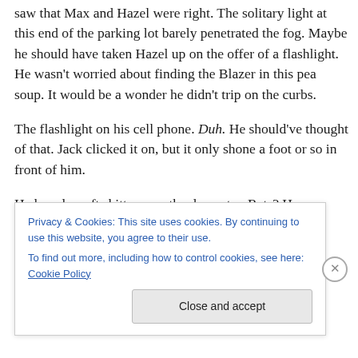saw that Max and Hazel were right. The solitary light at this end of the parking lot barely penetrated the fog. Maybe he should have taken Hazel up on the offer of a flashlight. He wasn't worried about finding the Blazer in this pea soup. It would be a wonder he didn't trip on the curbs.
The flashlight on his cell phone. Duh. He should've thought of that. Jack clicked it on, but it only shone a foot or so in front of him.
He heard a soft skitter near the dumpster. Rats? He
Privacy & Cookies: This site uses cookies. By continuing to use this website, you agree to their use.
To find out more, including how to control cookies, see here: Cookie Policy